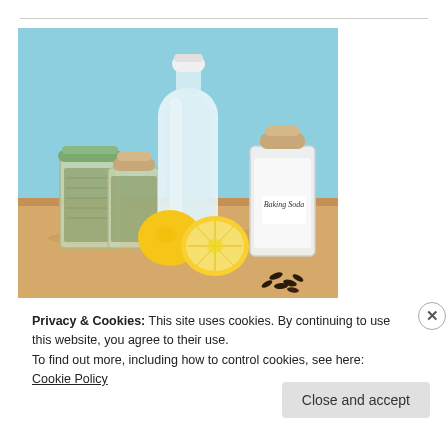[Figure (photo): A photo of natural cleaning ingredients on a wooden cutting board against a light blue background: two glass jars with cork/metal lids filled with dried herbs, a large clear glass bottle with white lid, a lemon cut in half, a glass jar labeled 'Baking Soda' with white powder, and scattered dark cloves.]
Privacy & Cookies: This site uses cookies. By continuing to use this website, you agree to their use.
To find out more, including how to control cookies, see here: Cookie Policy